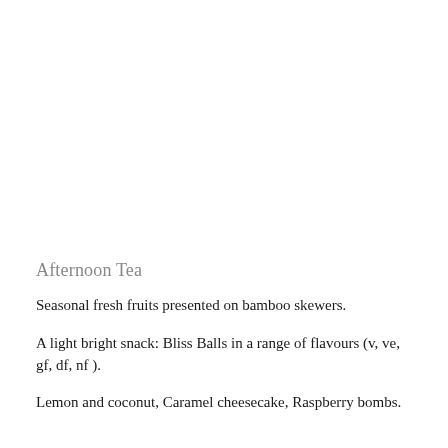Afternoon Tea
Seasonal fresh fruits presented on bamboo skewers.
A light bright snack: Bliss Balls in a range of flavours (v, ve, gf, df, nf ).
Lemon and coconut, Caramel cheesecake, Raspberry bombs.